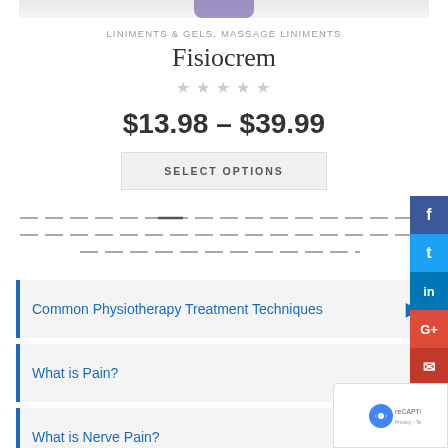[Figure (photo): Top portion of product image (cropped), likely a jar/container of Fisiocrem product]
LINIMENTS & GELS, MASSAGE LINIMENTS
Fisiocrem
[Figure (other): 5 empty/grey star rating icons]
$13.98 – $39.99
SELECT OPTIONS
[Figure (other): Dashed divider lines (three rows of dashes)]
Common Physiotherapy Treatment Techniques
What is Pain?
What is Nerve Pain?